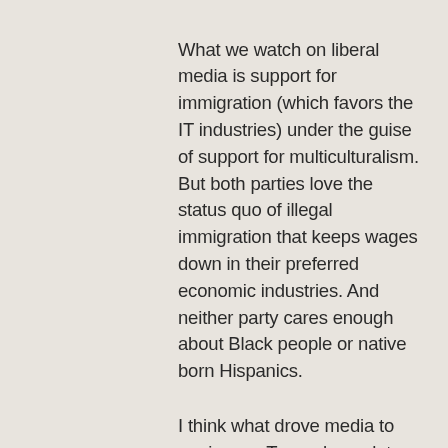What we watch on liberal media is support for immigration (which favors the IT industries) under the guise of support for multiculturalism. But both parties love the status quo of illegal immigration that keeps wages down in their preferred economic industries. And neither party cares enough about Black people or native born Hispanics.
I think what drove media to panic over Trump has a lot less to do with his character and a lot more to do with his